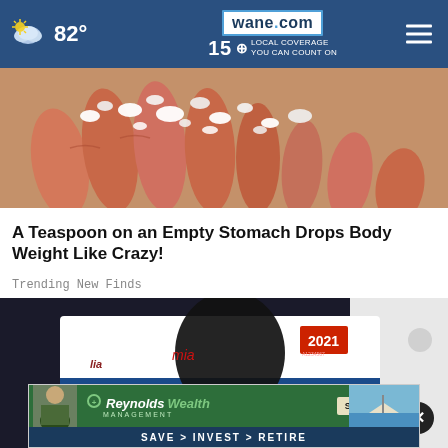wane.com 15 LOCAL COVERAGE YOU CAN COUNT ON | 82°
[Figure (photo): Close-up photo of toes/foot with sea salt or similar substance on them]
A Teaspoon on an Empty Stomach Drops Body Weight Like Crazy!
Trending New Finds
[Figure (photo): Photo of a California license plate showing 2021 sticker and partial letters IVEZZ, with a balloon covering part of it]
[Figure (infographic): Advertisement banner for Reynolds Wealth Management: START NOW | SAVE > INVEST > RETIRE]